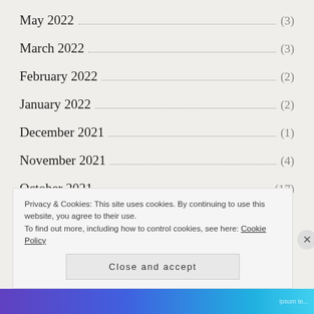May 2022 (3)
March 2022 (3)
February 2022 (2)
January 2022 (2)
December 2021 (1)
November 2021 (4)
October 2021 (17)
Privacy & Cookies: This site uses cookies. By continuing to use this website, you agree to their use.
To find out more, including how to control cookies, see here: Cookie Policy
Close and accept